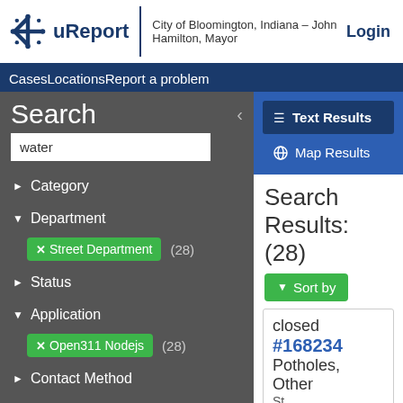uReport — City of Bloomington, Indiana – John Hamilton, Mayor — Login
CasesLocationsReport a problem
Search
water
▶ Category
▼ Department
✕ Street Department (28)
▶ Status
▼ Application
✕ Open311 Nodejs (28)
▶ Contact Method
▶ Neighborhood Association
Text Results
Map Results
Search Results: (28)
Sort by
closed
#168234
Potholes, Other
St…